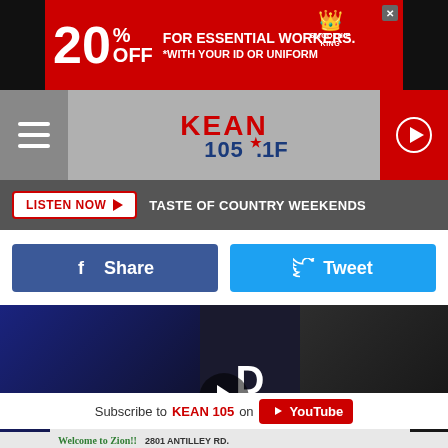[Figure (screenshot): Smoothie King ad banner: red background, '20% OFF FOR ESSENTIAL WORKERS. *WITH YOUR ID OR UNIFORM' with Smoothie King cup logo]
[Figure (logo): KEAN 105.1 FM radio station logo with navigation bar, hamburger menu and play button]
LISTEN NOW ▶  TASTE OF COUNTRY WEEKENDS
[Figure (screenshot): Facebook Share button (blue) and Twitter Tweet button (light blue)]
[Figure (screenshot): Video thumbnail showing musicians performing, with 'BAR' text overlay and play button]
Subscribe to KEAN 105 on YouTube
[Figure (screenshot): Welcome to Zion!! 2801 ANTILLEY RD. advertisement with church image and CLICK HERE button]